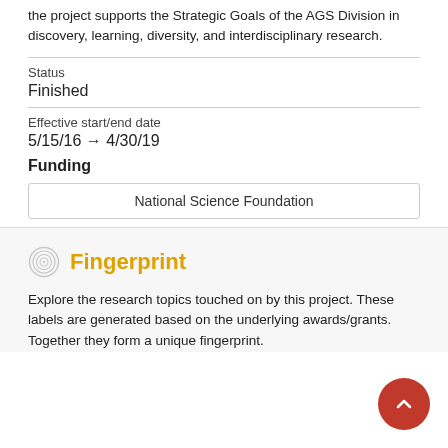the project supports the Strategic Goals of the AGS Division in discovery, learning, diversity, and interdisciplinary research.
Status
Finished
Effective start/end date
5/15/16 → 4/30/19
Funding
National Science Foundation
Fingerprint
Explore the research topics touched on by this project. These labels are generated based on the underlying awards/grants. Together they form a unique fingerprint.